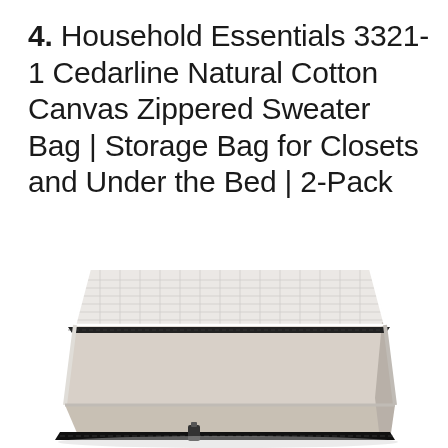4. Household Essentials 3321-1 Cedarline Natural Cotton Canvas Zippered Sweater Bag | Storage Bag for Closets and Under the Bed | 2-Pack
[Figure (photo): A flat, rectangular zippered storage bag made of natural cotton canvas with a mesh/transparent top panel and a black zipper along the bottom edge, photographed from a slightly elevated angle against a white background.]